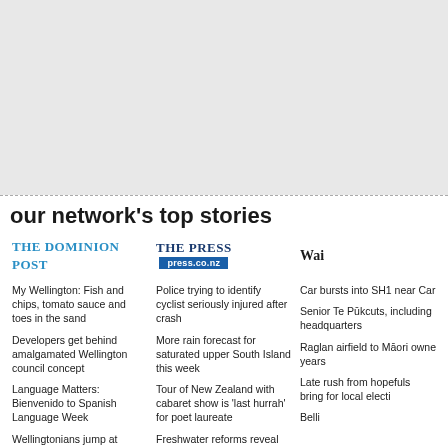[Figure (other): Top blank/grey area representing an advertisement or image placeholder]
our network's top stories
[Figure (logo): The Dominion Post logo in blue serif capitals]
[Figure (logo): The Press logo with press.co.nz bar]
[Figure (logo): Wai... (partial logo cut off)]
My Wellington: Fish and chips, tomato sauce and toes in the sand
Developers get behind amalgamated Wellington council concept
Language Matters: Bienvenido to Spanish Language Week
Wellingtonians jump at chance to have their say on Golden Mile transformation
Govt to round back on
Police trying to identify cyclist seriously injured after crash
More rain forecast for saturated upper South Island this week
Tour of New Zealand with cabaret show is 'last hurrah' for poet laureate
Freshwater reforms reveal difficulty in science-driven policy, report says
Ask yourself: Is it your truth or the
Car bursts into... SH1 near Car...
Senior Te Pūk... cuts, including... headquarters
Raglan airfield... to Māori owne... years
Late rush from... hopefuls bring... for local electi...
Belli...